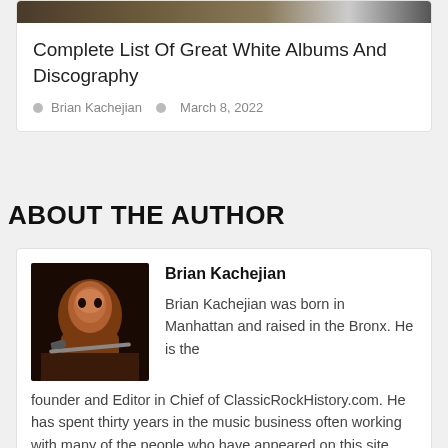Complete List Of Great White Albums And Discography
Brian Kachejian   March 8, 2022
ABOUT THE AUTHOR
Brian Kachejian
Brian Kachejian was born in Manhattan and raised in the Bronx. He is the founder and Editor in Chief of ClassicRockHistory.com. He has spent thirty years in the music business often working with many of the people who have appeared on this site. Brian Kachejian also holds B.A. and M.A.